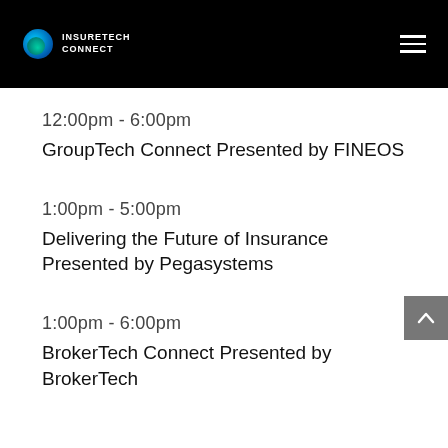INSURETECH CONNECT
12:00pm - 6:00pm
GroupTech Connect Presented by FINEOS
1:00pm - 5:00pm
Delivering the Future of Insurance Presented by Pegasystems
1:00pm - 6:00pm
BrokerTech Connect Presented by BrokerTech